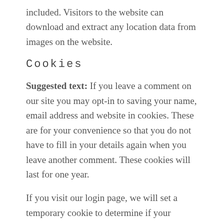included. Visitors to the website can download and extract any location data from images on the website.
Cookies
Suggested text: If you leave a comment on our site you may opt-in to saving your name, email address and website in cookies. These are for your convenience so that you do not have to fill in your details again when you leave another comment. These cookies will last for one year.
If you visit our login page, we will set a temporary cookie to determine if your browser accepts cookies. This cookie contains no